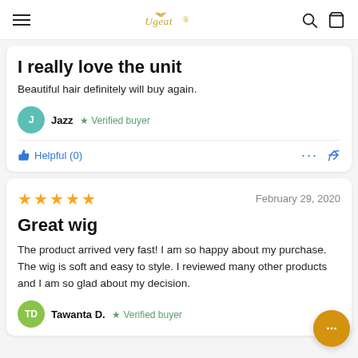Ugeat (logo)
I really love the unit
Beautiful hair definitely will buy again.
Jazz · Verified buyer
Helpful (0)
Great wig
February 29, 2020
The product arrived very fast! I am so happy about my purchase. The wig is soft and easy to style. I reviewed many other products and I am so glad about my decision.
Tawanta D. · Verified buyer